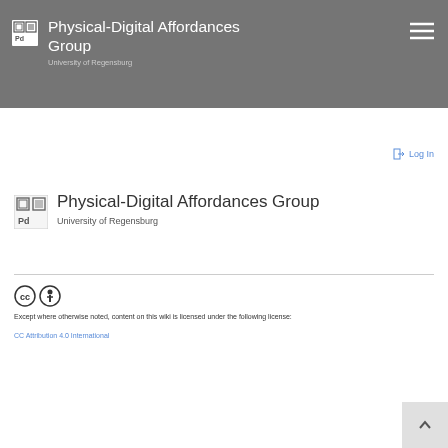Physical-Digital Affordances Group
University of Regensburg
Log In
Physical-Digital Affordances Group
University of Regensburg
Except where otherwise noted, content on this wiki is licensed under the following license:
CC Attribution 4.0 International